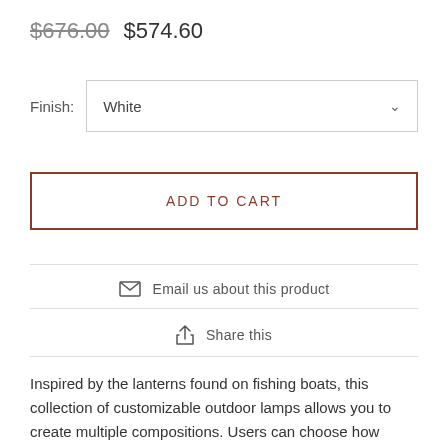$676.00  $574.60
Finish: White
ADD TO CART
Email us about this product
Share this
Inspired by the lanterns found on fishing boats, this collection of customizable outdoor lamps allows you to create multiple compositions. Users can choose how many shades to place on